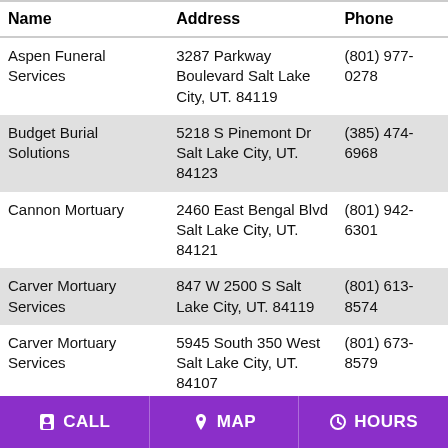| Name | Address | Phone |
| --- | --- | --- |
| Aspen Funeral Services | 3287 Parkway Boulevard Salt Lake City, UT. 84119 | (801) 977-0278 |
| Budget Burial Solutions | 5218 S Pinemont Dr Salt Lake City, UT. 84123 | (385) 474-6968 |
| Cannon Mortuary | 2460 East Bengal Blvd Salt Lake City, UT. 84121 | (801) 942-6301 |
| Carver Mortuary Services | 847 W 2500 S Salt Lake City, UT. 84119 | (801) 613-8574 |
| Carver Mortuary Services | 5945 South 350 West Salt Lake City, UT. 84107 | (801) 673-8579 |
| Deseret Mortuary | 36 E 700 S Salt Lake City, UT. 84111 | (801) 364-6528 |
| Evans & Early Mortuary | 574 E 1st S Salt Lake City, UT. 84102 | (801) 355-5323 |
| Garner Funeral Home | 1001 11th Avenue Salt Lake City, UT. 84103 | (801) 590-4500 |
CALL  MAP  HOURS